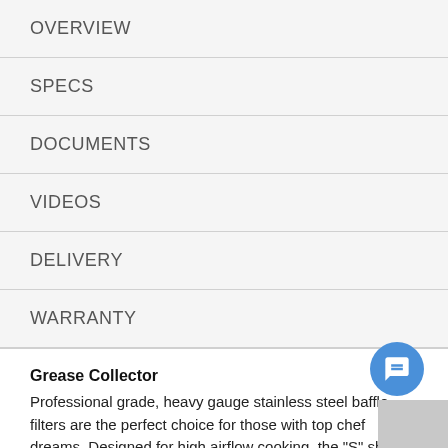OVERVIEW
SPECS
DOCUMENTS
VIDEOS
DELIVERY
WARRANTY
Grease Collector
Professional grade, heavy gauge stainless steel baffle filters are the perfect choice for those with top chef dreams. Designed for high airflow cooking, the "S" shape design traps volumes of grease (for a cleaner kitchen), which is collected in trays for easy removal and cleaning.
Heat Guard